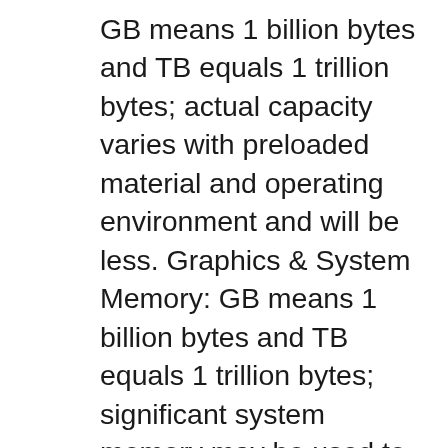GB means 1 billion bytes and TB equals 1 trillion bytes; actual capacity varies with preloaded material and operating environment and will be less. Graphics & System Memory: GB means 1 billion bytes and TB equals 1 trillion bytes; significant system memory may be used to support graphics, 1 Technical Specifications – Inspiron 11 3000 Series 2-in-1 NOTES: Hard Drives: GB means 1 billion bytes and TB equals 1 trillion bytes; actual capacity varies with preloaded material and operating environment and will be less. Graphics & System Memory: GB means 1 billion bytes and TB equals 1 trillion bytes; significant system memory may be used to support graphics.